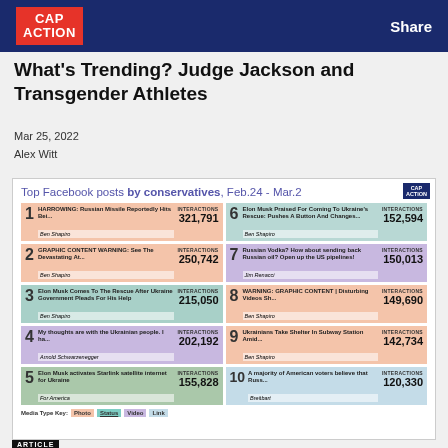CAP ACTION | Share
What's Trending? Judge Jackson and Transgender Athletes
Mar 25, 2022
Alex Witt
[Figure (infographic): Top Facebook posts by conservatives, Feb.24 - Mar.2. A grid of 10 entries showing post titles, sources, and interaction counts. Entries 1-5 on left, 6-10 on right. Color coded by media type. 1: HARROWING: Russian Missile Reportedly Hits Bel... - Ben Shapiro - 321,791. 2: GRAPHIC CONTENT WARNING: See The Devastating At... - Ben Shapiro - 250,742. 3: Elon Musk Comes To The Rescue After Ukraine Government Pleads For His Help - Ben Shapiro - 215,050. 4: My thoughts are with the Ukrainian people. I ha... - Arnold Schwarzenegger - 202,192. 5: Elon Musk activates Starlink satellite internet for Ukraine - For America - 155,828. 6: Elon Musk Praised For Coming To Ukraine's Rescue: Pushes A Button And Changes... - Ben Shapiro - 152,594. 7: Russian Vodka? How about sending back Russian oil? Open up the US pipelines! - Jim Renacci - 150,013. 8: WARNING: GRAPHIC CONTENT | Disturbing Videos Sh... - Ben Shapiro - 149,690. 9: Ukrainians Take Shelter In Subway Station Amid... - Ben Shapiro - 142,734. 10: A majority of American voters believe that Russ... - Breitbart - 120,330.]